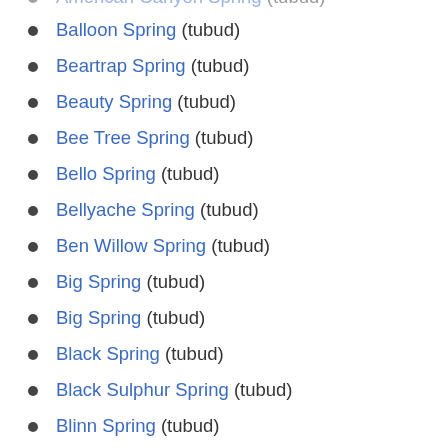American Canyon Spring (tubud)
Balloon Spring (tubud)
Beartrap Spring (tubud)
Beauty Spring (tubud)
Bee Tree Spring (tubud)
Bello Spring (tubud)
Bellyache Spring (tubud)
Ben Willow Spring (tubud)
Big Spring (tubud)
Big Spring (tubud)
Black Spring (tubud)
Black Sulphur Spring (tubud)
Blinn Spring (tubud)